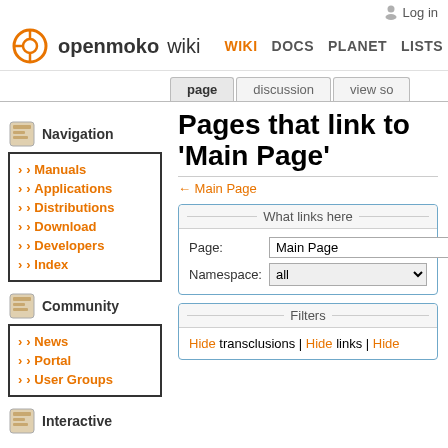openmokowiki — WIKI DOCS PLANET LISTS — Log in
page | discussion | view so
Navigation
Manuals
Applications
Distributions
Download
Developers
Index
Community
News
Portal
User Groups
Interactive
Pages that link to 'Main Page'
← Main Page
What links here
Page: Main Page
Namespace: all
Filters
Hide transclusions | Hide links | Hide